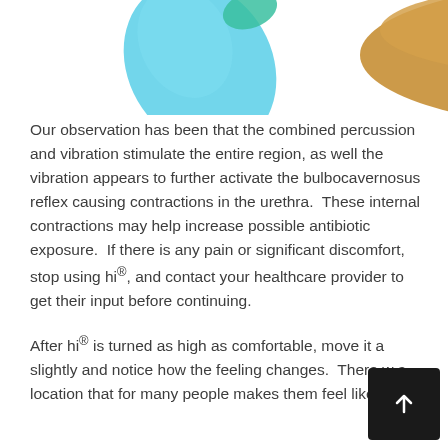[Figure (illustration): Partial illustration of a medical device (hi®) with teal/blue droplet shape and brown/gold bowl or cup shape visible at top of page]
Our observation has been that the combined percussion and vibration stimulate the entire region, as well the vibration appears to further activate the bulbocavernosus reflex causing contractions in the urethra.  These internal contractions may help increase possible antibiotic exposure.  If there is any pain or significant discomfort, stop using hi®, and contact your healthcare provider to get their input before continuing.
After hi® is turned as high as comfortable, move it a slightly and notice how the feeling changes.  There w a location that for many people makes them feel like they